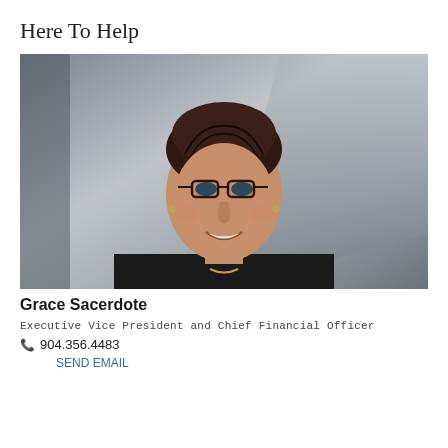Here To Help
[Figure (photo): Professional headshot of Grace Sacerdote, a woman with short dark hair and glasses, wearing a black blazer, smiling, with a blurred gray architectural background.]
Grace Sacerdote
Executive Vice President and Chief Financial Officer
904.356.4483
SEND EMAIL